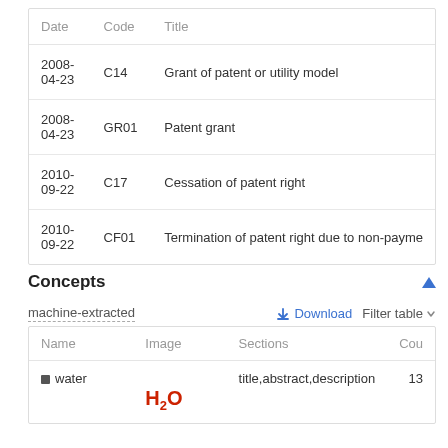| Date | Code | Title |
| --- | --- | --- |
| 2008-04-23 | C14 | Grant of patent or utility model |
| 2008-04-23 | GR01 | Patent grant |
| 2010-09-22 | C17 | Cessation of patent right |
| 2010-09-22 | CF01 | Termination of patent right due to non-payme |
Concepts
machine-extracted
| Name | Image | Sections | Cou |
| --- | --- | --- | --- |
| water |  | title,abstract,description | 13 |
[Figure (other): Chemical formula H2O rendered in red bold text]